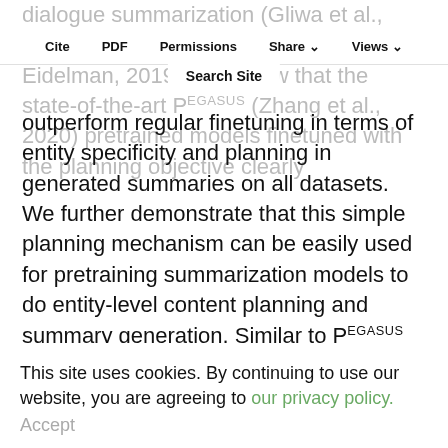dialogue summarization (Gliwa et al., 2019), and BillSum (Kornilova and Eidelman, 2019), and show that the state-of-the-art PEGASUS (Zhang et al., 2020) pretrained models finetuned with the planning objective clearly outperform regular finetuning in terms of entity specificity and planning in generated summaries on all datasets. We further demonstrate that this simple planning mechanism can be easily used for pretraining summarization models to do entity-level content planning and summary generation. Similar to PEGASUS pretraining, we mask important sentences from an input document, extract an entity chain from the masked sentences, and generate these gap-sentences
Cite   PDF   Permissions   Share   Views
Search Site
This site uses cookies. By continuing to use our website, you are agreeing to our privacy policy. Accept